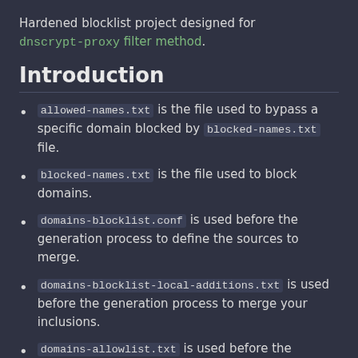Hardened blocklist project designed for dnscrypt-proxy filter method.
Introduction
allowed-names.txt is the file used to bypass a specific domain blocked by blocked-names.txt file.
blocked-names.txt is the file used to block domains.
domains-blocklist.conf is used before the generation process to define the sources to merge.
domains-blocklist-local-additions.txt is used before the generation process to merge your inclusions.
domains-allowlist.txt is used before the generation process to merge your...